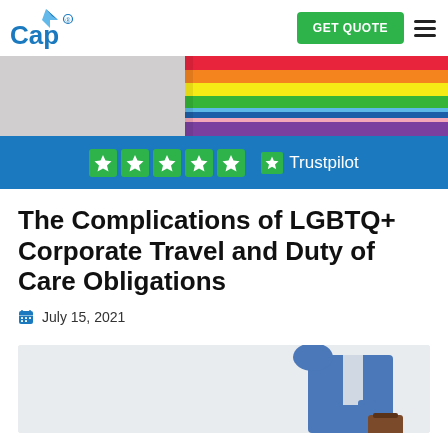Cap logo | GET QUOTE | menu
[Figure (photo): Rainbow pride flag fabric, colorful stripes of red, orange, yellow, green, blue, purple on a light background]
[Figure (infographic): Trustpilot rating bar: five green star icons followed by green Trustpilot star logo and text 'Trustpilot' on a blue background]
The Complications of LGBTQ+ Corporate Travel and Duty of Care Obligations
July 15, 2021
[Figure (photo): Business person in blue suit jacket carrying a briefcase, cropped torso and arm view on white background]